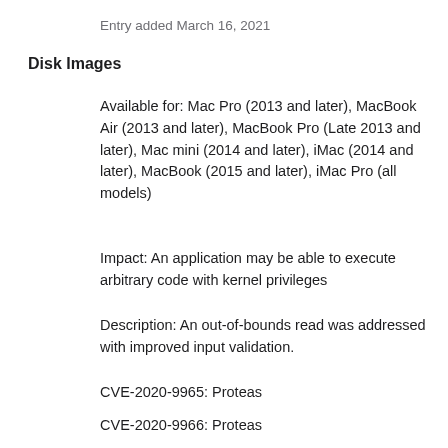Entry added March 16, 2021
Disk Images
Available for: Mac Pro (2013 and later), MacBook Air (2013 and later), MacBook Pro (Late 2013 and later), Mac mini (2014 and later), iMac (2014 and later), MacBook (2015 and later), iMac Pro (all models)
Impact: An application may be able to execute arbitrary code with kernel privileges
Description: An out-of-bounds read was addressed with improved input validation.
CVE-2020-9965: Proteas
CVE-2020-9966: Proteas